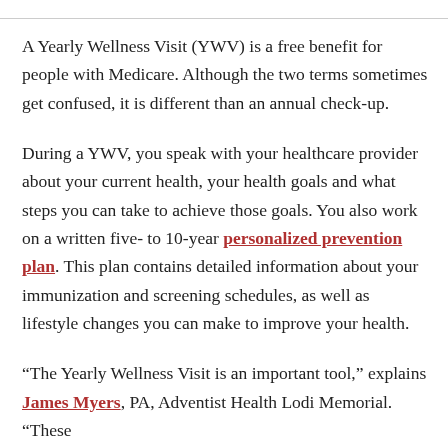A Yearly Wellness Visit (YWV) is a free benefit for people with Medicare. Although the two terms sometimes get confused, it is different than an annual check-up.
During a YWV, you speak with your healthcare provider about your current health, your health goals and what steps you can take to achieve those goals. You also work on a written five- to 10-year personalized prevention plan. This plan contains detailed information about your immunization and screening schedules, as well as lifestyle changes you can make to improve your health.
“The Yearly Wellness Visit is an important tool,” explains James Myers, PA, Adventist Health Lodi Memorial. “These